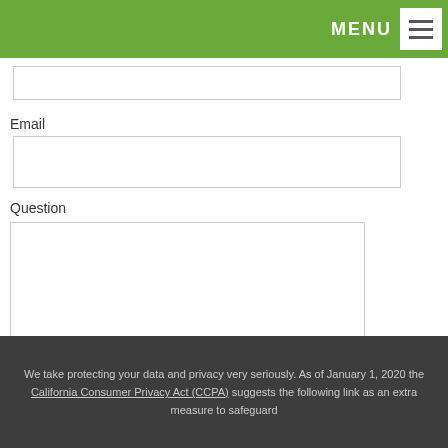MENU
Email
Question
SUBMIT
We take protecting your data and privacy very seriously. As of January 1, 2020 the California Consumer Privacy Act (CCPA) suggests the following link as an extra measure to safeguard